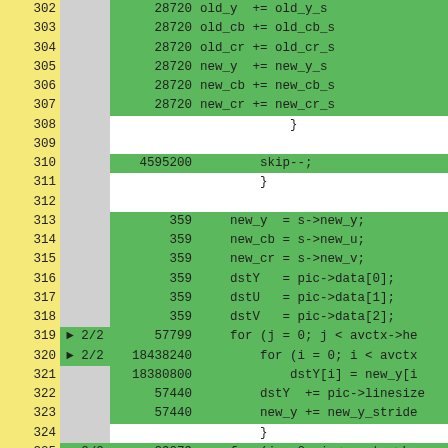| Line | Marker | Count | Code |
| --- | --- | --- | --- |
| 302 |  | 28720 | old_y  += old_y_s |
| 303 |  | 28720 | old_cb += old_cb_s |
| 304 |  | 28720 | old_cr += old_cr_s |
| 305 |  | 28720 | new_y  += new_y_s |
| 306 |  | 28720 | new_cb += new_cb_s |
| 307 |  | 28720 | new_cr += new_cr_s |
| 308 |  |  | } |
| 309 |  |  |  |
| 310 |  | 4595200 | skip--; |
| 311 |  |  | } |
| 312 |  |  |  |
| 313 |  | 359 | new_y  = s->new_y; |
| 314 |  | 359 | new_cb = s->new_u; |
| 315 |  | 359 | new_cr = s->new_v; |
| 316 |  | 359 | dstY   = pic->data[0]; |
| 317 |  | 359 | dstU   = pic->data[1]; |
| 318 |  | 359 | dstV   = pic->data[2]; |
| 319 | ▶ 2/2 | 57799 | for (j = 0; j < avctx->he |
| 320 | ▶ 2/2 | 18438240 |     for (i = 0; i < avctx |
| 321 |  | 18380800 |         dstY[i] = new_y[i |
| 322 |  | 57440 |     dstY  += pic->linesize |
| 323 |  | 57440 |     new_y += new_y_stride |
| 324 |  |  | } |
| 325 | ▶ 2/2 | 29079 | for (j = 0; j < avctx->he |
| 326 | ▶ 2/2 | 4623920 |     for (i = 0; i < avctx |
| 327 |  | 4595200 |         dstU[i] = chroma_ |
| 328 |  | 4595200 |         dstV[i] = chroma_ |